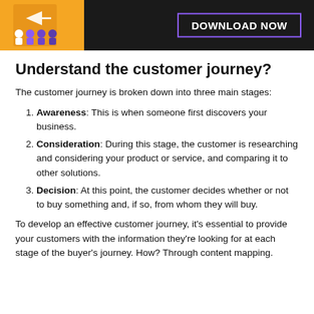[Figure (other): Dark banner with orange book cover thumbnail on the left showing person icons, and a 'DOWNLOAD NOW' button with purple border on the right on dark background.]
Understand the customer journey?
The customer journey is broken down into three main stages:
Awareness: This is when someone first discovers your business.
Consideration: During this stage, the customer is researching and considering your product or service, and comparing it to other solutions.
Decision: At this point, the customer decides whether or not to buy something and, if so, from whom they will buy.
To develop an effective customer journey, it's essential to provide your customers with the information they're looking for at each stage of the buyer's journey. How? Through content mapping.